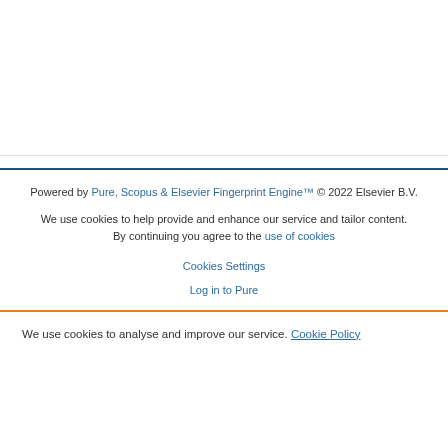Powered by Pure, Scopus & Elsevier Fingerprint Engine™ © 2022 Elsevier B.V.
We use cookies to help provide and enhance our service and tailor content. By continuing you agree to the use of cookies
Cookies Settings
Log in to Pure
We use cookies to analyse and improve our service. Cookie Policy